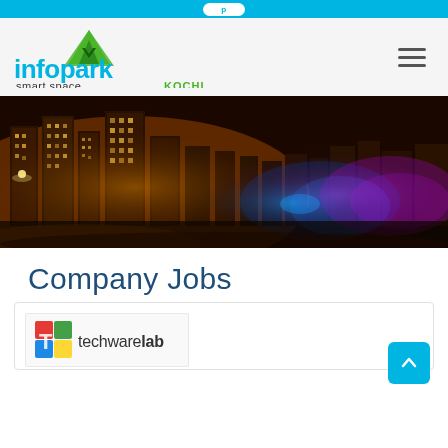infopark smart space KOCHI
[Figure (photo): Night cityscape of Infopark Kochi with illuminated buildings and colorful lights]
Company Jobs
[Figure (logo): Techware Lab company logo with colorful T icon and techwarelab text]